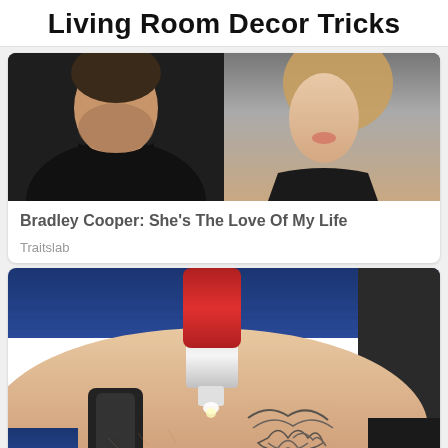Living Room Decor Tricks
[Figure (photo): Photo of two people, a man in a black jacket and white shirt on the left, and a woman in a black top on the right]
Bradley Cooper: She's The Love Of My Life
Traitslab
[Figure (photo): Close-up photo of a laser tattoo removal device (red and white) pointed at a tattoo on skin, with denim clothing visible]
Want To Get Rid Of Your Tattoo? Read This